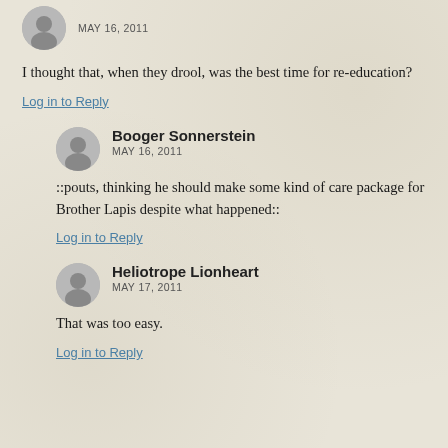MAY 16, 2011
I thought that, when they drool, was the best time for re-education?
Log in to Reply
Booger Sonnerstein
MAY 16, 2011
::pouts, thinking he should make some kind of care package for Brother Lapis despite what happened::
Log in to Reply
Heliotrope Lionheart
MAY 17, 2011
That was too easy.
Log in to Reply